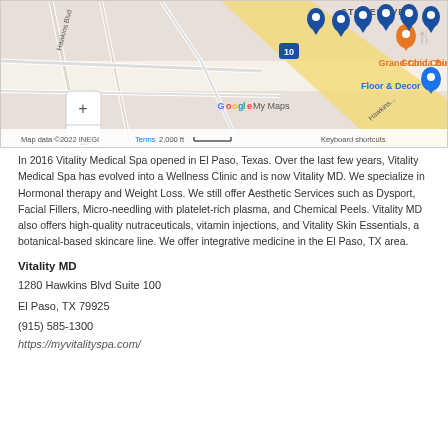[Figure (map): Google My Maps screenshot showing location near 1280 Hawkins Blvd, El Paso, TX. Multiple blue map pins visible, Grand China Buffet and Floor & Decor labeled, I-10 freeway visible. Map data ©2022 INEGI. Scale: 2,000 ft.]
In 2016 Vitality Medical Spa opened in El Paso, Texas. Over the last few years, Vitality Medical Spa has evolved into a Wellness Clinic and is now Vitality MD. We specialize in Hormonal therapy and Weight Loss. We still offer Aesthetic Services such as Dysport, Facial Fillers, Micro-needling with platelet-rich plasma, and Chemical Peels. Vitality MD also offers high-quality nutraceuticals, vitamin injections, and Vitality Skin Essentials, a botanical-based skincare line. We offer integrative medicine in the El Paso, TX area.
Vitality MD
1280 Hawkins Blvd Suite 100
El Paso, TX 79925
(915) 585-1300
https://myvitalityspa.com/